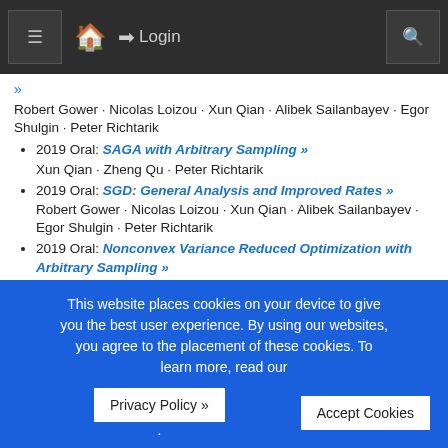≡ 🏠 Login 🔍
»
Robert Gower · Nicolas Loizou · Xun Qian · Alibek Sailanbayev · Egor Shulgin · Peter Richtarik
2019 Oral: SAGA with Arbitrary Sampling »
Xun Qian · Zheng Qu · Peter Richtarik
2019 Oral: SGD: General Analysis and Improved Rates »
Robert Gower · Nicolas Loizou · Xun Qian · Alibek Sailanbayev · Egor Shulgin · Peter Richtarik
2019 Oral: Nonconvex Variance Reduced Optimization with Arbitrary Sampling »
Samuel Horvath · Peter Richtarik
2018 Poster: SGD and Hogwild! Convergence Without the Bounded Gradients Assumption »
Lam Nguyen · PHUONG HA NGUYEN · Marten van Dijk ·
This website places cookies on your device to give you the best user experience. By using our websites, you agree to the placement of these cookies. To learn more, read our Privacy Policy ».